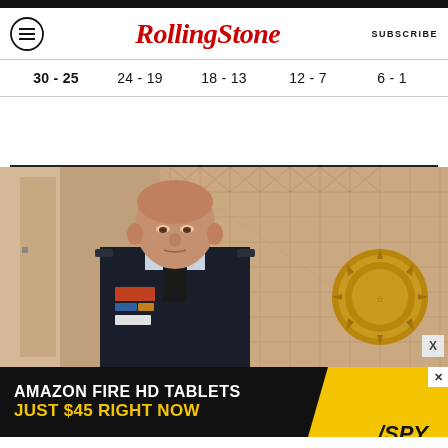Rolling Stone
30 - 25  24 - 19  18 - 13  12 - 7  6 - 1
[Figure (photo): Bald man in military dress uniform with medals, standing in a room with patterned wallpaper and a gold seal/emblem on the wall]
[Figure (other): Advertisement banner: AMAZON FIRE HD TABLETS JUST $45 RIGHT NOW with SPY logo on yellow background]